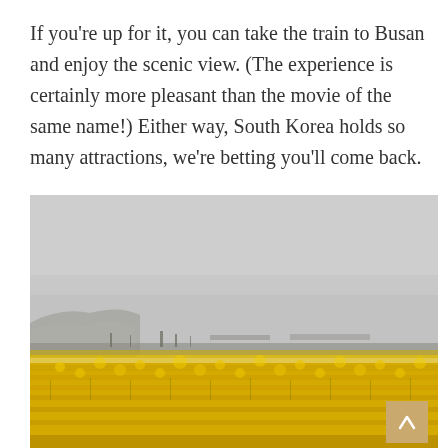If you're up for it, you can take the train to Busan and enjoy the scenic view. (The experience is certainly more pleasant than the movie of the same name!) Either way, South Korea holds so many attractions, we're betting you'll come back.
[Figure (photo): A wide landscape photograph showing a large field of bright yellow rapeseed (canola) flowers in full bloom in the foreground, with a flat horizon line, misty mountains and sparse trees in the middle distance, and an overcast grey sky above.]